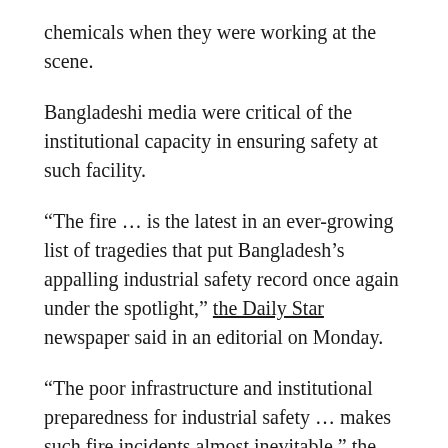chemicals when they were working at the scene.
Bangladeshi media were critical of the institutional capacity in ensuring safety at such facility.
“The fire … is the latest in an ever-growing list of tragedies that put Bangladesh’s appalling industrial safety record once again under the spotlight,” the Daily Star newspaper said in an editorial on Monday.
“The poor infrastructure and institutional preparedness for industrial safety … makes such fire incidents almost inevitable,” the Daily Star said.
The International Labor Organization said in a 2020